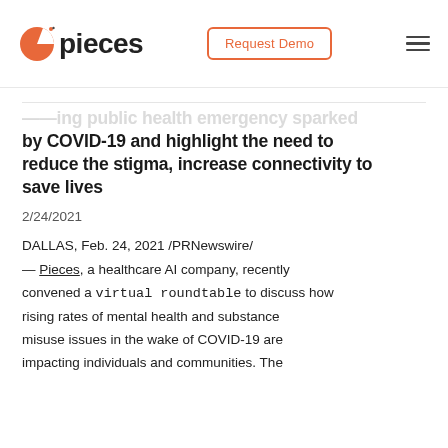[Figure (logo): Pieces logo with orange leaf/pie icon and bold 'pieces' text]
Request Demo
...ading public health emergency sparked by COVID-19 and highlight the need to reduce the stigma, increase connectivity to save lives
2/24/2021
DALLAS, Feb. 24, 2021 /PRNewswire/ — Pieces, a healthcare AI company, recently convened a virtual roundtable to discuss how rising rates of mental health and substance misuse issues in the wake of COVID-19 are impacting individuals and communities. The